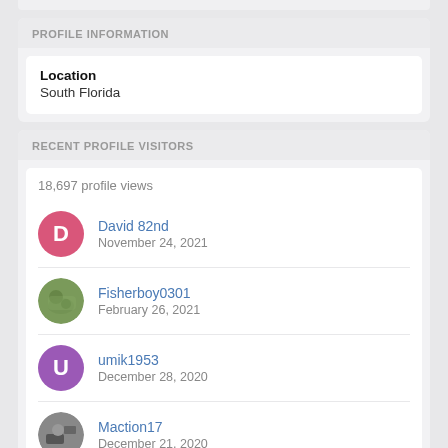PROFILE INFORMATION
Location
South Florida
RECENT PROFILE VISITORS
18,697 profile views
David 82nd
November 24, 2021
Fisherboy0301
February 26, 2021
umik1953
December 28, 2020
Maction17
December 21, 2020
samsonboi